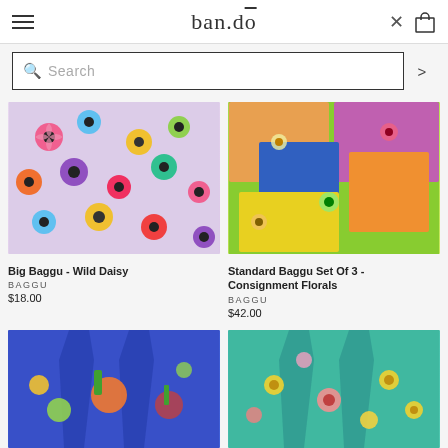ban.dō
Search
[Figure (photo): Folded fabric bag with colorful wild daisy flower print on light purple background]
Big Baggu - Wild Daisy
BAGGU
$18.00
[Figure (photo): Folded fabric bags set of 3 with bright consignment floral prints on green background]
Standard Baggu Set Of 3 - Consignment Florals
BAGGU
$42.00
[Figure (photo): Reusable bag with colorful vegetable and garden print on blue background]
[Figure (photo): Reusable bag with yellow and pink floral print on teal/green background]